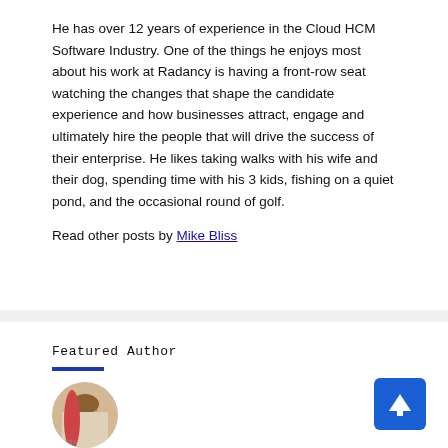He has over 12 years of experience in the Cloud HCM Software Industry. One of the things he enjoys most about his work at Radancy is having a front-row seat watching the changes that shape the candidate experience and how businesses attract, engage and ultimately hire the people that will drive the success of their enterprise. He likes taking walks with his wife and their dog, spending time with his 3 kids, fishing on a quiet pond, and the occasional round of golf.
Read other posts by Mike Bliss
Featured Author
[Figure (photo): Circular profile photo of a person (Featured Author)]
[Figure (other): Blue square button with white upward arrow icon]